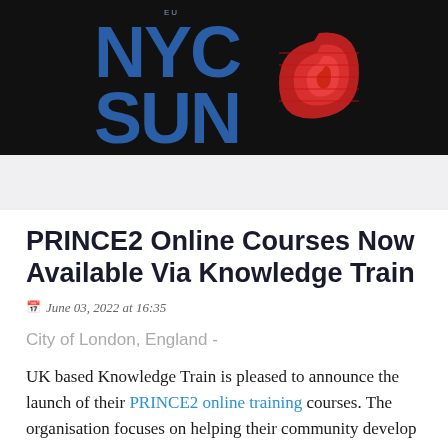[Figure (logo): NYC Sun logo with blue bold text 'NYC SUN' and red wave/spiral graphic on black background]
PRINCE2 Online Courses Now Available Via Knowledge Train
June 03, 2022 at 16:35
City of London, England -
UK based Knowledge Train is pleased to announce the launch of their PRINCE2 online training courses. The organisation focuses on helping their community develop the skills to improve workplace performance, thereby